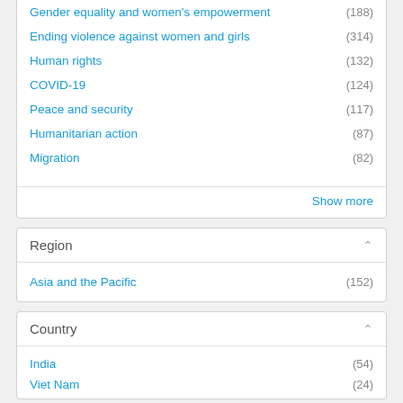Gender equality and women's empowerment (188)
Ending violence against women and girls (314)
Human rights (132)
COVID-19 (124)
Peace and security (117)
Humanitarian action (87)
Migration (82)
Show more
Region
Asia and the Pacific (152)
Country
India (54)
Viet Nam (24)